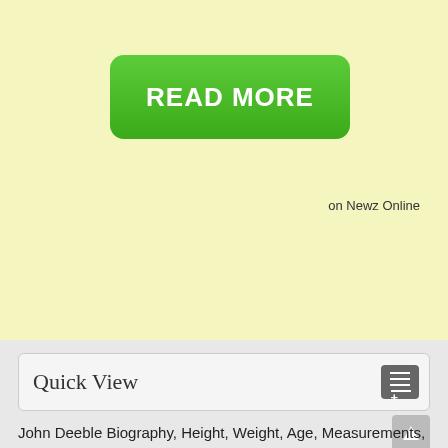[Figure (other): Green READ MORE button on yellow background with 'on Newz Online' text]
Quick View
John Deeble Biography, Height, Weight, Age, Measurements, Net Worth, Family, Wiki & much more! John Deeble was born on